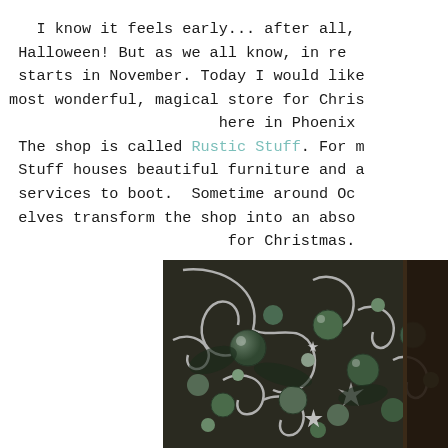I know it feels early... after all, Halloween! But as we all know, in re starts in November. Today I would like most wonderful, magical store for Chri here in Phoenix The shop is called Rustic Stuff. For m Stuff houses beautiful furniture and a services to boot.  Sometime around Oc elves transform the shop into an abso for Christmas.
[Figure (photo): A decorative Christmas wreath with dark green and silver ornamental balls, silvery swirling metallic scrollwork, and sparkly star-shaped decorations against a dark background.]